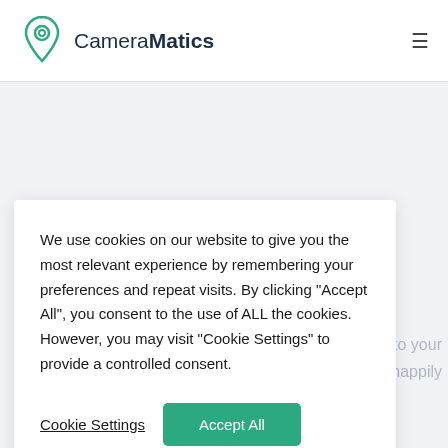CameraMatics
[Figure (screenshot): Background page with avatar images and partially visible text 'er to your' and 'll happily']
We use cookies on our website to give you the most relevant experience by remembering your preferences and repeat visits. By clicking “Accept All”, you consent to the use of ALL the cookies. However, you may visit “Cookie Settings” to provide a controlled consent.
Cookie Settings
Accept All